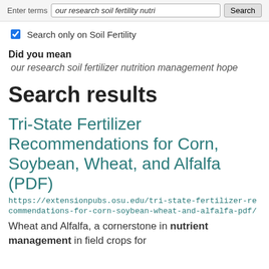Enter terms: our research soil fertility nutri [Search]
Search only on Soil Fertility
Did you mean
our research soil fertilizer nutrition management hope
Search results
Tri-State Fertilizer Recommendations for Corn, Soybean, Wheat, and Alfalfa (PDF)
https://extensionpubs.osu.edu/tri-state-fertilizer-recommendations-for-corn-soybean-wheat-and-alfalfa-pdf/
Wheat and Alfalfa, a cornerstone in nutrient management in field crops for